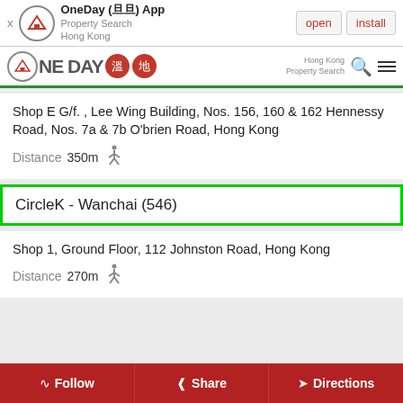[Figure (screenshot): OneDay App banner with open and install buttons]
[Figure (logo): OneDay property search Hong Kong navigation bar logo with Chinese badges]
Shop E G/f. , Lee Wing Building, Nos. 156, 160 & 162 Hennessy Road, Nos. 7a & 7b O'brien Road, Hong Kong
Distance 350m
CircleK - Wanchai (546)
Shop 1, Ground Floor, 112 Johnston Road, Hong Kong
Distance 270m
Follow
Share
Directions